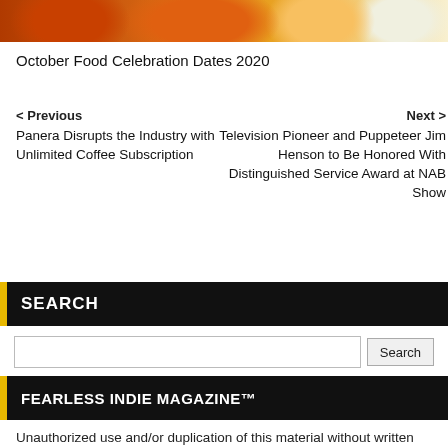[Figure (photo): Photo strip of pumpkins and gourds in orange, white, and green colors against a warm background]
October Food Celebration Dates 2020
< Previous
Panera Disrupts the Industry with Unlimited Coffee Subscription
Next >
Television Pioneer and Puppeteer Jim Henson to Be Honored With Distinguished Service Award at NAB Show
SEARCH
FEARLESS INDIE MAGAZINE™
Unauthorized use and/or duplication of this material without written permission from Jesse Watrous of Fearless Indie Magazine™ is strictly prohibited.